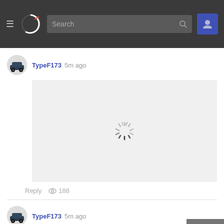[Figure (screenshot): Navigation bar with hamburger menu, logo (spinning C), search box, and user profile button]
TypeF173  5m ago
[Figure (other): Loading spinner on grey background — image loading state]
Reply  👁 188
TypeF173  5m ago
YO! Hoppelmoppel123 can you add these please?
Thank You very much!